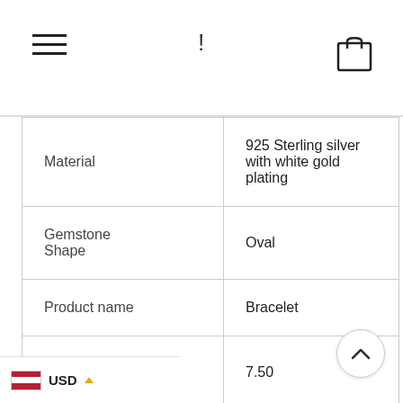! [navigation header with hamburger menu and shopping bag icon]
| Attribute | Value |
| --- | --- |
| Material | 925 Sterling silver with white gold plating |
| Gemstone Shape | Oval |
| Product name | Bracelet |
| Bracelet length | 7.50 |